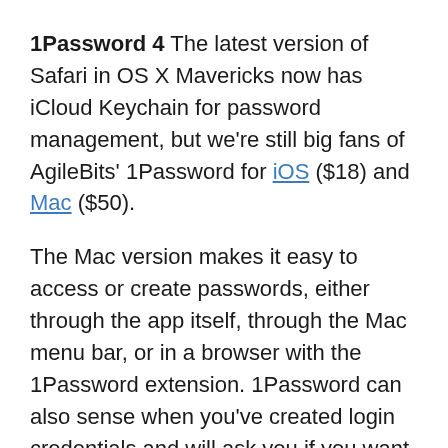1Password 4 The latest version of Safari in OS X Mavericks now has iCloud Keychain for password management, but we're still big fans of AgileBits' 1Password for iOS ($18) and Mac ($50).
The Mac version makes it easy to access or create passwords, either through the app itself, through the Mac menu bar, or in a browser with the 1Password extension. 1Password can also sense when you've created login credentials and will ask you if you want to store them in the app. Sync your data to Dropbox, iCloud (Mac App Store version only), or use the local Wi-Fi sync, and you'll have access to the login information on your iOS device. All your data is encrypted, so you don't have to worry about prying eyes.